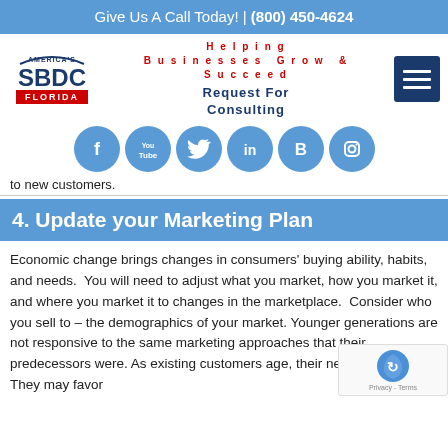Give Us A Call Today! | (800) 450-4624
[Figure (logo): America's SBDC Florida logo]
Helping Businesses Grow & Succeed
Request For Consulting
[Figure (infographic): Social media icons row: Facebook, YouTube, Twitter, LinkedIn, Blogger, Instagram]
to new customers.
4. Update your Marketing Plan
Economic change brings changes in consumers' buying ability, habits, and needs.  You will need to adjust what you market, how you market it, and where you market it to changes in the marketplace.  Consider who you sell to – the demographics of your market. Younger generations are not responsive to the same marketing approaches that their predecessors were. As existing customers age, their needs change. They may favor